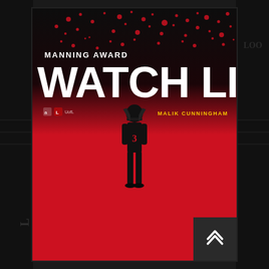[Figure (illustration): Sports promotional poster for Manning Award Watch List featuring football player Malik Cunningham (number 3) from University of Louisville, wearing black uniform, standing with hands raised to face, against a red and dark background with red paint splatter effect. Large white text reads 'MANNING AWARD' and 'WATCH LIST'. Player name 'MALIK CUNNINGHAM' appears in gold/yellow text. Adidas and team logos visible. Dark grey chevron/arrow up icon box in bottom right corner.]